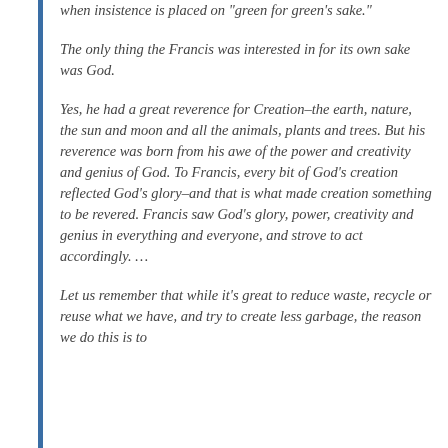when insistence is placed on "green for green's sake."
The only thing the Francis was interested in for its own sake was God.
Yes, he had a great reverence for Creation–the earth, nature, the sun and moon and all the animals, plants and trees. But his reverence was born from his awe of the power and creativity and genius of God. To Francis, every bit of God's creation reflected God's glory–and that is what made creation something to be revered. Francis saw God's glory, power, creativity and genius in everything and everyone, and strove to act accordingly. …
Let us remember that while it's great to reduce waste, recycle or reuse what we have, and try to create less garbage, the reason we do this is to